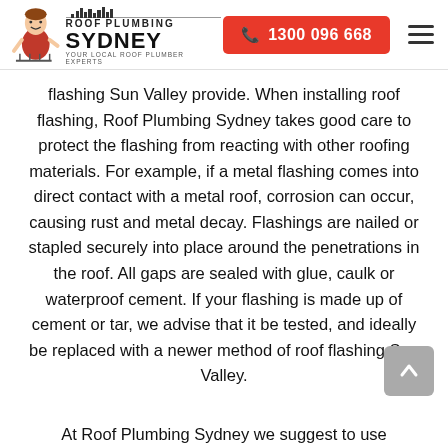Roof Plumbing Sydney — Your Local Roof Plumber Experts | 1300 096 668
flashing Sun Valley provide. When installing roof flashing, Roof Plumbing Sydney takes good care to protect the flashing from reacting with other roofing materials. For example, if a metal flashing comes into direct contact with a metal roof, corrosion can occur, causing rust and metal decay. Flashings are nailed or stapled securely into place around the penetrations in the roof. All gaps are sealed with glue, caulk or waterproof cement. If your flashing is made up of cement or tar, we advise that it be tested, and ideally be replaced with a newer method of roof flashing Sun Valley.
At Roof Plumbing Sydney we suggest to use